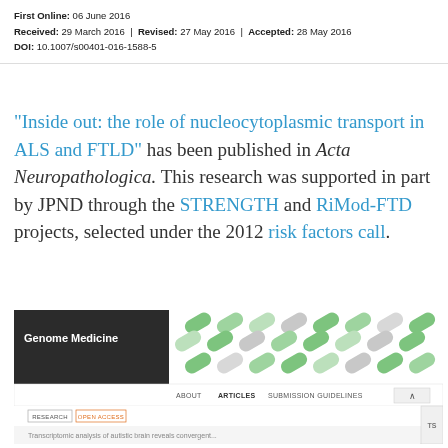First Online: 06 June 2016
Received: 29 March 2016 | Revised: 27 May 2016 | Accepted: 28 May 2016
DOI: 10.1007/s00401-016-1588-5
"Inside out: the role of nucleocytoplasmic transport in ALS and FTLD" has been published in Acta Neuropathologica. This research was supported in part by JPND through the STRENGTH and RiMod-FTD projects, selected under the 2012 risk factors call.
[Figure (screenshot): Screenshot of Genome Medicine journal website showing the header with logo, navigation bar with ABOUT, ARTICLES, SUBMISSION GUIDELINES, and a RESEARCH / OPEN ACCESS tag bar below.]